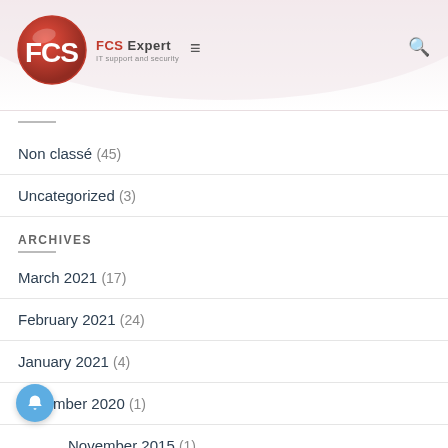[Figure (logo): FCS Expert logo — red circular FCS logo with brand name and tagline 'IT support and security']
Non classé (45)
Uncategorized (3)
ARCHIVES
March 2021 (17)
February 2021 (24)
January 2021 (4)
December 2020 (1)
November 2015 (1)